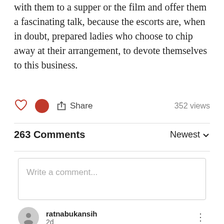with them to a supper or the film and offer them a fascinating talk, because the escorts are, when in doubt, prepared ladies who choose to chip away at their arrangement, to devote themselves to this business.
352 views
263 Comments
Newest
Write a comment...
ratnabukansih
2d
Oda reveals the end of Luffy 's story ? It's